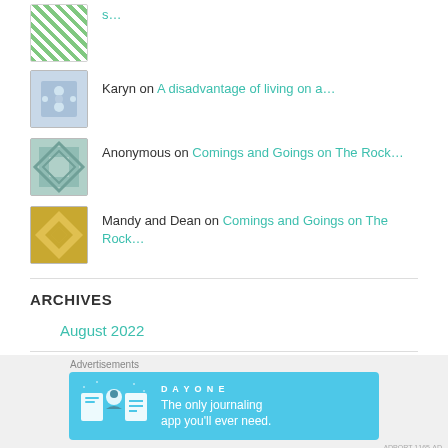Karyn on A disadvantage of living on a...
Anonymous on Comings and Goings on The Rock...
Mandy and Dean on Comings and Goings on The Rock...
ARCHIVES
August 2022
[Figure (other): DAY ONE journaling app advertisement banner: The only journaling app you'll ever need.]